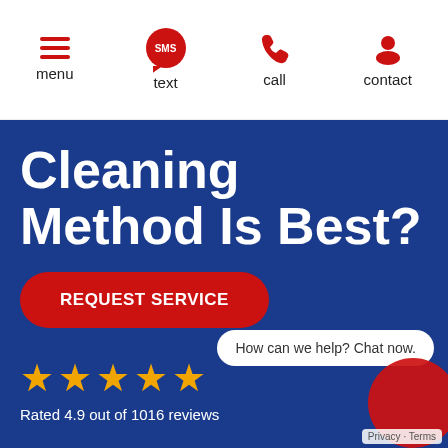menu | text | call | contact
Cleaning Method Is Best?
REQUEST SERVICE
How can we help? Chat now.
[Figure (infographic): Five gold stars rating display]
Rated 4.9 out of 1016 reviews